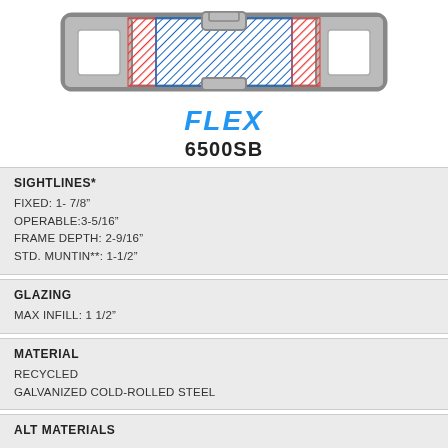[Figure (engineering-diagram): Cross-section schematic of FLEX 6500SB window frame profile showing grey outer frame, red hatched seals/gaskets, and blue hatched central glazing bar]
FLEX 6500SB
SIGHTLINES*
FIXED: 1- 7/8"
OPERABLE:3-5/16"
FRAME DEPTH: 2-9/16"
STD. MUNTIN**: 1-1/2"
GLAZING
MAX INFILL: 1 1/2"
MATERIAL
RECYCLED
GALVANIZED COLD-ROLLED STEEL
ALT MATERIALS